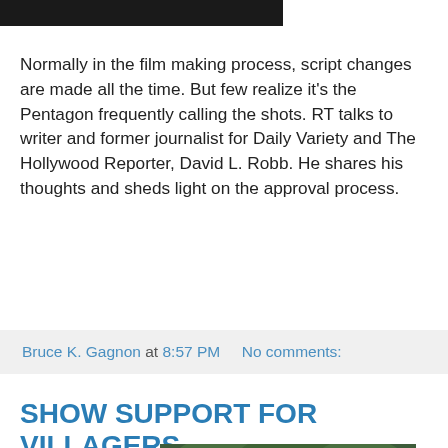[Figure (screenshot): Dark video thumbnail at top left]
Normally in the film making process, script changes are made all the time. But few realize it's the Pentagon frequently calling the shots. RT talks to writer and former journalist for Daily Variety and The Hollywood Reporter, David L. Robb. He shares his thoughts and sheds light on the approval process.
Bruce K. Gagnon at 8:57 PM   No comments:
SHOW SUPPORT FOR VILLAGERS
[Figure (photo): Outdoor photo showing a person in a straw hat sitting in what appears to be a boat or cart, with a yellow flag and green trees in the background]